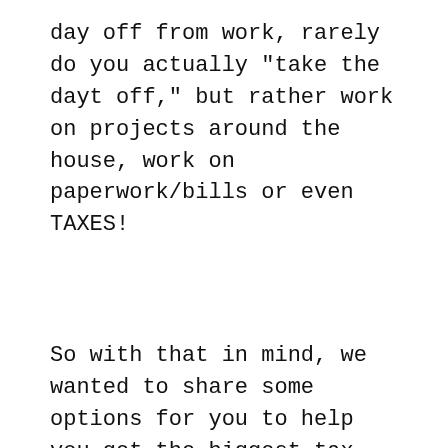day off from work, rarely do you actually "take the dayt off," but rather work on projects around the house, work on paperwork/bills or even TAXES!
So with that in mind, we wanted to share some options for you to help you get the biggest tax return you can PLUS be able to prepare and file your taxes